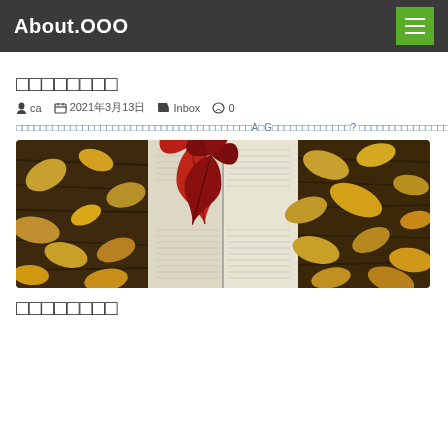About.OOO
□□□□□□□□
ca  2021年3月13日  Inbox  0
□□□□□□□□□□□□□□□□□□□□□□□□□□□□□□□□□□□□□□□A□G□□□□□□□□□□□□□? □□□□□□□□□□□□□□□□□□□□□□□□□□□□□□□□□□□□□□□□□9□ □□□□□□□□□□□□□□□□□□□□□□G□□□□□□□□□□□□□□□□□□ □□□□□□□□□□□□□□□□□□□□□A□□ »
[Figure (photo): Composite photo: autumn leaves on dark wood surface (left), open book with red maple leaves placed on pages (center), autumn leaves on dark wood surface (right)]
□□□□□□□□